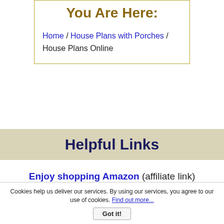You Are Here:
Home / House Plans with Porches / House Plans Online
Helpful Links
Enjoy shopping Amazon (affiliate link)
Cookies help us deliver our services. By using our services, you agree to our use of cookies. Find out more...
Got it!